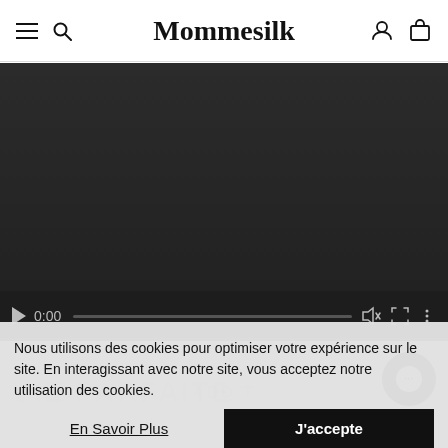Mommesilk
[Figure (screenshot): Video player showing a dark/black video frame with playback controls at the bottom: play button, time display 0:00, progress bar, mute/volume icon, fullscreen icon, and more options icon.]
VIE PARFAITE
ADD T
Nous utilisons des cookies pour optimiser votre expérience sur le site. En interagissant avec notre site, vous acceptez notre utilisation des cookies.
En Savoir Plus
J'accepte